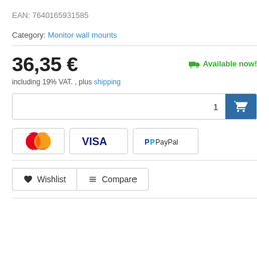EAN: 7640165931585
Category: Monitor wall mounts
36,35 €
Available now!
including 19% VAT. , plus shipping
[Figure (other): Quantity input box with shopping cart button]
[Figure (other): Payment badges: Mastercard, Visa, PayPal]
Wishlist  Compare